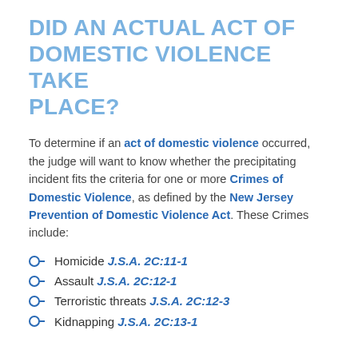DID AN ACTUAL ACT OF DOMESTIC VIOLENCE TAKE PLACE?
To determine if an act of domestic violence occurred, the judge will want to know whether the precipitating incident fits the criteria for one or more Crimes of Domestic Violence, as defined by the New Jersey Prevention of Domestic Violence Act. These Crimes include:
Homicide J.S.A. 2C:11-1
Assault J.S.A. 2C:12-1
Terroristic threats J.S.A. 2C:12-3
Kidnapping J.S.A. 2C:13-1